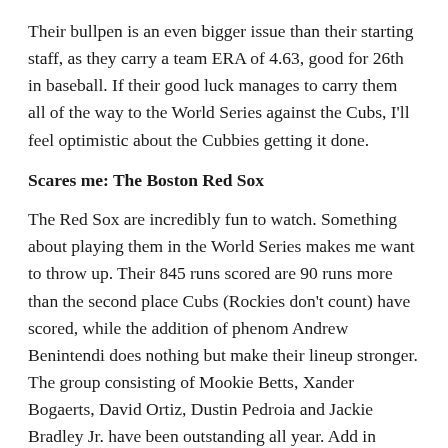Their bullpen is an even bigger issue than their starting staff, as they carry a team ERA of 4.63, good for 26th in baseball. If their good luck manages to carry them all of the way to the World Series against the Cubs, I'll feel optimistic about the Cubbies getting it done.
Scares me: The Boston Red Sox
The Red Sox are incredibly fun to watch. Something about playing them in the World Series makes me want to throw up. Their 845 runs scored are 90 runs more than the second place Cubs (Rockies don't count) have scored, while the addition of phenom Andrew Benintendi does nothing but make their lineup stronger. The group consisting of Mookie Betts, Xander Bogaerts, David Ortiz, Dustin Pedroia and Jackie Bradley Jr. have been outstanding all year. Add in Benintendi and Hanley Ramirez's scorching bat (1.035 OPS since June 23), and you have yourself a terrifying offense. Their pitching hasn't gotten much press, but their team ERA of 4.08 is actually good for fourth best in the American League. David Price has been mildly